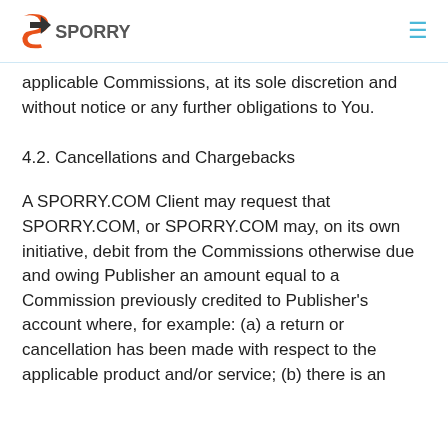SPORRY
applicable Commissions, at its sole discretion and without notice or any further obligations to You.
4.2. Cancellations and Chargebacks
A SPORRY.COM Client may request that SPORRY.COM, or SPORRY.COM may, on its own initiative, debit from the Commissions otherwise due and owing Publisher an amount equal to a Commission previously credited to Publisher's account where, for example: (a) a return or cancellation has been made with respect to the applicable product and/or service; (b) there is an